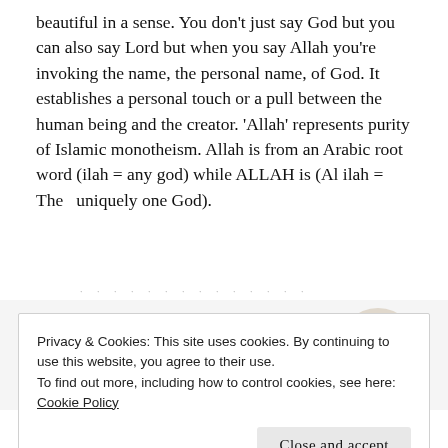beautiful in a sense. You don't just say God but you can also say Lord but when you say Allah you're invoking the name, the personal name, of God. It establishes a personal touch or a pull between the human being and the creator. 'Allah' represents purity of Islamic monotheism. Allah is from an Arabic root word (ilah = any god) while ALLAH is (Al ilah = The  uniquely one God).
[Figure (other): Advertisement banner with bold text 'and a better world.' and a blue Apply button, alongside a circular avatar of a person]
Privacy & Cookies: This site uses cookies. By continuing to use this website, you agree to their use.
To find out more, including how to control cookies, see here: Cookie Policy
Close and accept